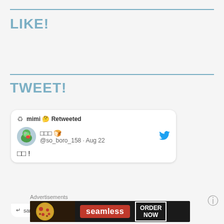LIKE!
TWEET!
[Figure (screenshot): Embedded tweet card: mimi retweeted @so_boro_158 on Aug 22 with text containing Japanese characters and exclamation mark]
Advertisements
[Figure (photo): Seamless food delivery advertisement banner with pizza image, Seamless logo in red, and ORDER NOW button]